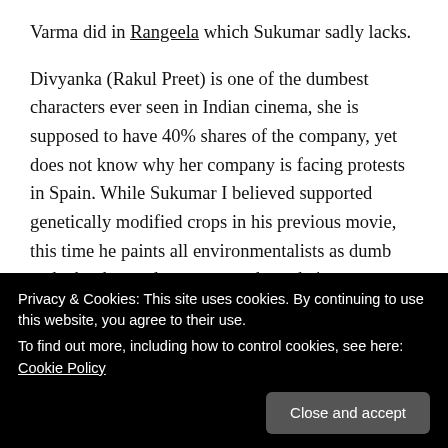Varma did in Rangeela which Sukumar sadly lacks.
Divyanka (Rakul Preet) is one of the dumbest characters ever seen in Indian cinema, she is supposed to have 40% shares of the company, yet does not know why her company is facing protests in Spain. While Sukumar I believed supported genetically modified crops in his previous movie, this time he paints all environmentalists as dumb and who do not do any research on their own.
The film has loopholes, which are bigger than potholes you will find in Sakinaka,Mumbai. NTR Jr builds a pipeline
Privacy & Cookies: This site uses cookies. By continuing to use this website, you agree to their use.
To find out more, including how to control cookies, see here: Cookie Policy
notice his father writing a diary and asks about it.)